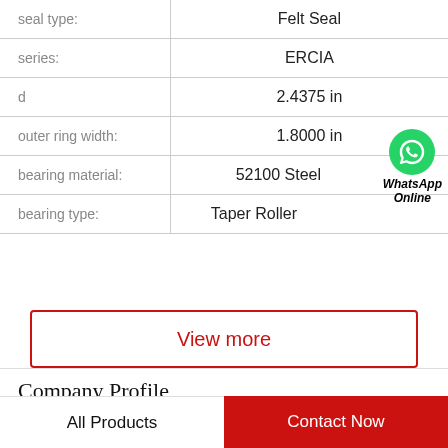| Property | Value |
| --- | --- |
| seal type: | Felt Seal |
| series: | ERCIA |
| d | 2.4375 in |
| outer ring width: | 1.8000 in |
| bearing material: | 52100 Steel |
| bearing type: | Taper Roller |
View more
Company Profile
All Products
Contact Now